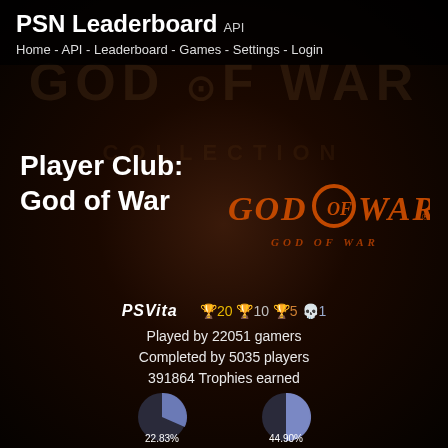PSN Leaderboard API
Home - API - Leaderboard - Games - Settings - Login
Player Club:
God of War
[Figure (logo): God of War stylized orange/gold logo text on dark background]
PS VITA  🏆20  🏆10  🏆5  💀1
Played by 22051 gamers
Completed by 5035 players
391864 Trophies earned
[Figure (pie-chart): Average Completed]
[Figure (pie-chart): Average Completion]
Average Completed
Average Completion